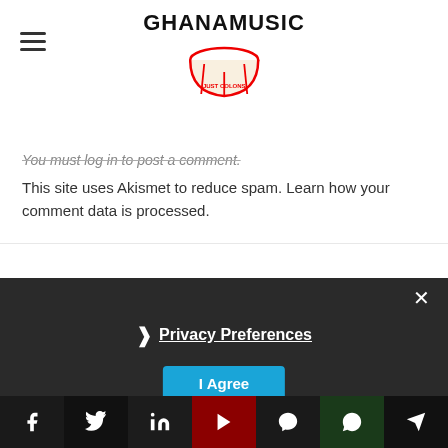GhanaMusic logo with hamburger menu
You must log in to post a comment.
This site uses Akismet to reduce spam. Learn how your comment data is processed.
× ❯ Privacy Preferences I Agree
Social sharing bar: Facebook, Twitter, LinkedIn, YouTube, Messenger, WhatsApp, Telegram